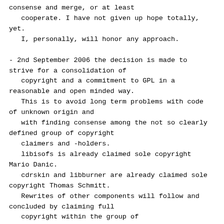consense and merge, or at least
   cooperate. I have not given up hope totally,
yet.
   I, personally, will honor any approach.

- 2nd September 2006 the decision is made to
strive for a consolidation of
   copyright and a commitment to GPL in a
reasonable and open minded way.
   This is to avoid long term problems with code
of unknown origin and
   with finding consense among the not so clearly
defined group of copyright
   claimers and -holders.
   libisofs is already claimed sole copyright
Mario Danic.
   cdrskin and libburner are already claimed sole
copyright Thomas Schmitt.
   Rewrites of other components will follow and
concluded by claiming full
   copyright within the group of
libburn.pykix.org-copyright holders.